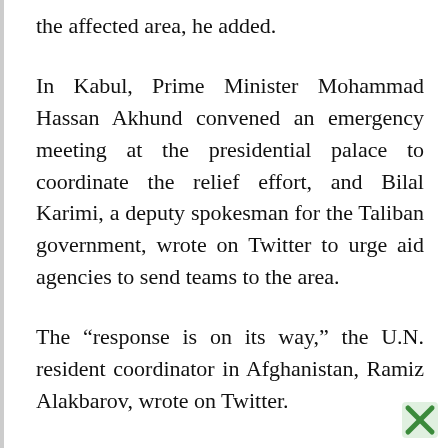the affected area, he added.
In Kabul, Prime Minister Mohammad Hassan Akhund convened an emergency meeting at the presidential palace to coordinate the relief effort, and Bilal Karimi, a deputy spokesman for the Taliban government, wrote on Twitter to urge aid agencies to send teams to the area.
The “response is on its way,” the U.N. resident coordinator in Afghanistan, Ramiz Alakbarov, wrote on Twitter.
That may prove difficult given the situation landlocked Afghanistan finds itself in today. After the Taliban swept across the country in 2021, the U.S. military and its allies fell back to Kabul International Airport and